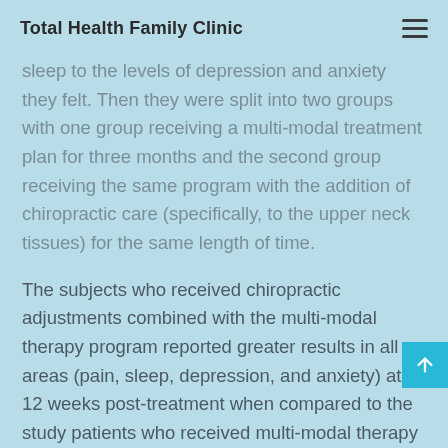Total Health Family Clinic
sleep to the levels of depression and anxiety they felt. Then they were split into two groups with one group receiving a multi-modal treatment plan for three months and the second group receiving the same program with the addition of chiropractic care (specifically, to the upper neck tissues) for the same length of time.
The subjects who received chiropractic adjustments combined with the multi-modal therapy program reported greater results in all areas (pain, sleep, depression, and anxiety) at 12 weeks post-treatment when compared to the study patients who received multi-modal therapy without chiropractic. Furthermore, the positive benefits